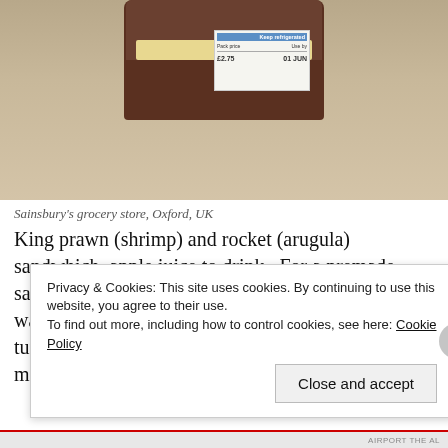[Figure (photo): A Sainsbury's grocery store sandwich package (dark brown box) on a beige table, showing a label sticker with price and use-by date, with 'Keep refrigerated' in blue header.]
Sainsbury's grocery store, Oxford, UK
King prawn (shrimp) and rocket (arugula) sandwhich, apple juice to drink.  For a premade sandwhich coming out of a grocery store, this one was not half bad.  It was a kind of prawn salad like tuna salad, it had onions and celery, and mayonnaise.
Privacy & Cookies: This site uses cookies. By continuing to use this website, you agree to their use.
To find out more, including how to control cookies, see here: Cookie Policy
Close and accept